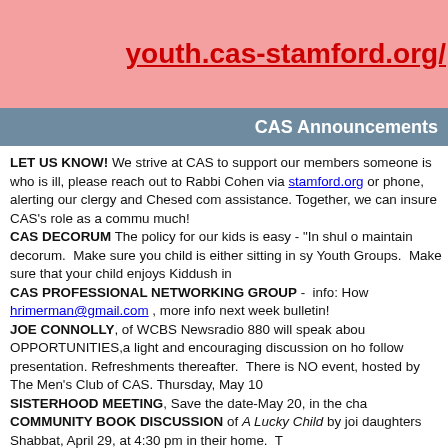youth.cas-stamford.org/
CAS Announcements
LET US KNOW! We strive at CAS to support our members someone is who is ill, please reach out to Rabbi Cohen via stamford.org or phone, alerting our clergy and Chesed com assistance. Together, we can insure CAS's role as a commu much!
CAS DECORUM The policy for our kids is easy - "In shul o maintain decorum. Make sure you child is either sitting in sy Youth Groups. Make sure that your child enjoys Kiddush in
CAS PROFESSIONAL NETWORKING GROUP - info: How hrimerman@gmail.com , more info next week bulletin!
JOE CONNOLLY, of WCBS Newsradio 880 will speak abou OPPORTUNITIES,a light and encouraging discussion on ho follow presentation. Refreshments thereafter. There is NO event, hosted by The Men's Club of CAS. Thursday, May 10
SISTERHOOD MEETING, Save the date-May 20, in the cha
COMMUNITY BOOK DISCUSSION of A Lucky Child by joi daughters Shabbat, April 29, at 4:30 pm in their home. T